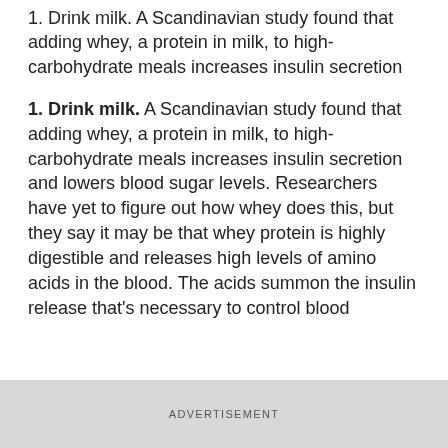1. Drink milk. A Scandinavian study found that adding whey, a protein in milk, to high-carbohydrate meals increases insulin secretion
1. Drink milk. A Scandinavian study found that adding whey, a protein in milk, to high-carbohydrate meals increases insulin secretion and lowers blood sugar levels. Researchers have yet to figure out how whey does this, but they say it may be that whey protein is highly digestible and releases high levels of amino acids in the blood. The acids summon the insulin release that's necessary to control blood
ADVERTISEMENT